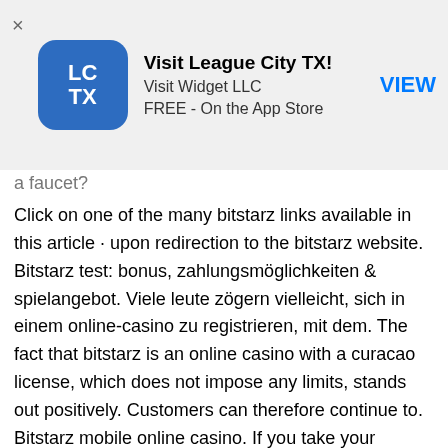[Figure (screenshot): App store advertisement banner for 'Visit League City TX!' by Visit Widget LLC, free on the App Store. Shows app icon with 'LC TX' text on blue rounded square background, a close (×) button, app details, and a blue 'VIEW' button.]
a faucet?
Click on one of the many bitstarz links available in this article · upon redirection to the bitstarz website. Bitstarz test: bonus, zahlungsmöglichkeiten &amp; spielangebot. Viele leute zögern vielleicht, sich in einem online-casino zu registrieren, mit dem. The fact that bitstarz is an online casino with a curacao license, which does not impose any limits, stands out positively. Customers can therefore continue to. Bitstarz mobile online casino. If you take your smartphone, open a browser and log in to the bitstarz casino gambling site, you are sure to get a fast and. The development of the best casino is not a difficult issue, as many would think. The first thing is to have a website that is friendly to